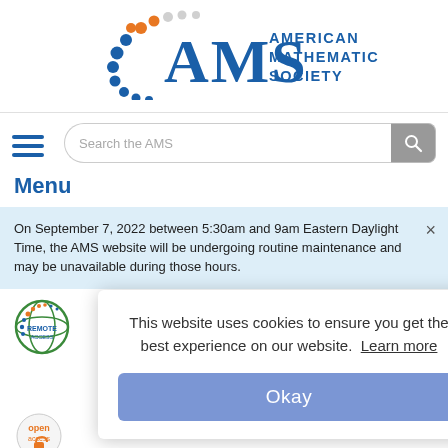[Figure (logo): American Mathematical Society (AMS) logo with colorful dots and bold AMS letters]
[Figure (screenshot): Search bar with 'Search the AMS' placeholder and magnifying glass button]
[Figure (other): Hamburger menu icon (three horizontal blue lines)]
Menu
On September 7, 2022 between 5:30am and 9am Eastern Daylight Time, the AMS website will be undergoing routine maintenance and may be unavailable during those hours.
This website uses cookies to ensure you get the best experience on our website. Learn more
Okay
[Figure (logo): Remote Access badge/logo (globe with dots)]
[Figure (other): Open Access logo]
[Figure (other): Proceedings journal cover thumbnail]